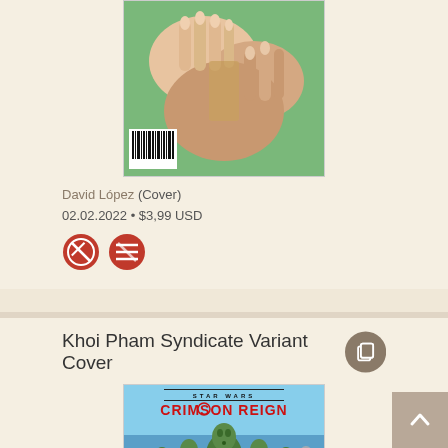[Figure (illustration): Comic book cover showing hands holding an object, with a barcode in the bottom left corner. Illustrated in comic art style with green background.]
David López (Cover)
02.02.2022 • $3,99 USD
[Figure (illustration): Two circular red icons with crossed/strikethrough symbols indicating unavailability or restrictions.]
Khoi Pham Syndicate Variant Cover
[Figure (illustration): Star Wars: Crimson Reign comic book cover showing alien characters (green-skinned humanoids) in formal attire against a blue background, with STAR WARS logo at top and CRIMSON REIGN title in red.]